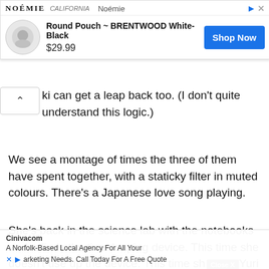[Figure (screenshot): Advertisement banner for NOÉMIE brand showing a Round Pouch ~ BRENTWOOD White-Black product priced at $29.99 with a 'Shop Now' button]
ki can get a leap back too. (I don't quite understand this logic.)
We see a montage of times the three of them have spent together, with a staticky filter in muted colours. There's a Japanese love song playing.
She's back in the science lab with the notebooks and refinds the time leaping device. This time she doesn't use up the device. This time sh[Close X]Yuri she r[ed] but s[o go
[Figure (screenshot): Bottom ad overlay: Cinivacom - A Norfolk-Based Local Agency For All Your Marketing Needs. Call Today For A Free Quote]